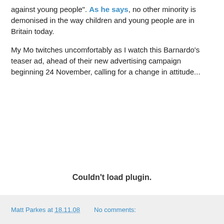against young people". As he says, no other minority is demonised in the way children and young people are in Britain today.
My Mo twitches uncomfortably as I watch this Barnardo's teaser ad, ahead of their new advertising campaign beginning 24 November, calling for a change in attitude...
[Figure (other): Embedded plugin area showing 'Couldn't load plugin.' message]
Matt Parkes at 18.11.08   No comments: